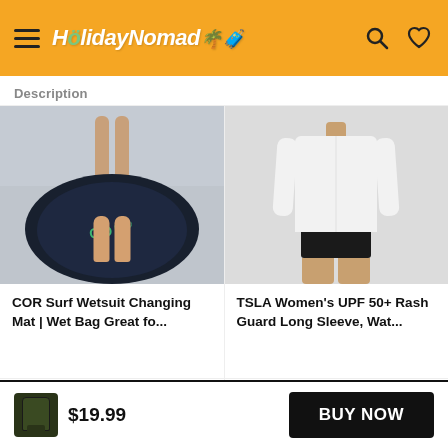HolidayNomad
Description
[Figure (photo): COR Surf Wetsuit changing mat, circular black mat with green logo, person standing on it barefoot]
COR Surf Wetsuit Changing Mat | Wet Bag Great fo...
$19.97   ↓ 20%
[Figure (photo): TSLA Women's UPF 50+ Rash Guard Long Sleeve, white long-sleeve top with black bottoms, female model torso]
TSLA Women's UPF 50+ Rash Guard Long Sleeve, Wat...
$18.98
$19.99  BUY NOW